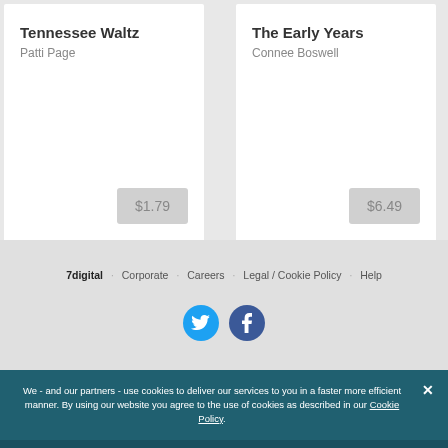Tennessee Waltz
Patti Page
$1.79
The Early Years
Connee Boswell
$6.49
7digital  Corporate  Careers  Legal / Cookie Policy  Help
We - and our partners - use cookies to deliver our services to you in a faster more efficient manner. By using our website you agree to the use of cookies as described in our Cookie Policy.